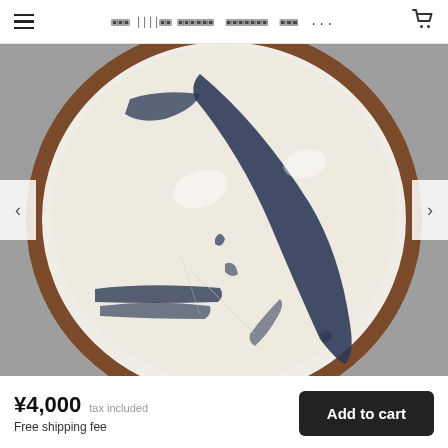☰  ??? ||||??? ??????  ???????  ???  ...  🛒
[Figure (photo): Close-up photograph of a round ceramic plate with white glaze and dark navy blue brushstroke patterns, with a brown unglazed rim. The plate shows abstract ink-wash style decoration against a grey background.]
¥4,000  tax included
Free shipping fee
Add to cart